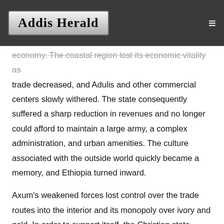Addis Herald
economy. The coastal region lost its economic vitality as trade decreased, and Adulis and other commercial centers slowly withered. The state consequently suffered a sharp reduction in revenues and no longer could afford to maintain a large army, a complex administration, and urban amenities. The culture associated with the outside world quickly became a memory, and Ethiopia turned inward.
Axum's weakened forces lost control over the trade routes into the interior and its monopoly over ivory and gold. In order to support itself, the Christian state moved southward, to the rich grain-growing areas of Agew country. By the early ninth century, the kingdom was well established as far so (then the Angot region; currently